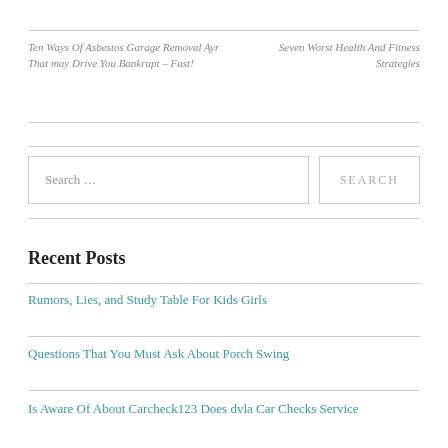Ten Ways Of Asbestos Garage Removal Ayr That may Drive You Bankrupt – Fast!
Seven Worst Health And Fitness Strategies
Search …
Recent Posts
Rumors, Lies, and Study Table For Kids Girls
Questions That You Must Ask About Porch Swing
Is Aware Of About Carcheck123 Does dvla Car Checks Service